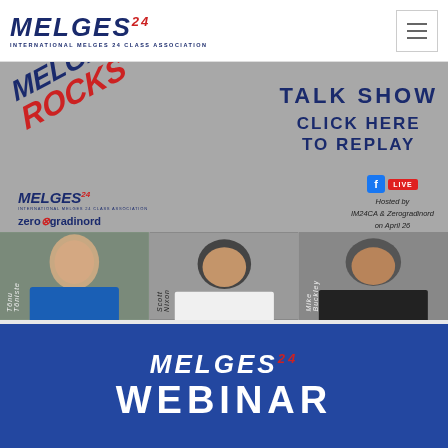MELGES 24 — INTERNATIONAL MELGES 24 CLASS ASSOCIATION
[Figure (infographic): Melges 24 Rocks Talk Show promotional banner with angled logo text, 'TALK SHOW', 'CLICK HERE TO REPLAY', Facebook LIVE badge, hosted by IM24CA & Zerogradinord on April 26, with speaker photos of Tõnu Tõniste, Scott Nixon, and Mike Buckley]
[Figure (infographic): Melges 24 Webinar promotional banner on blue background with white MELGES 24 logo and WEBINAR text]